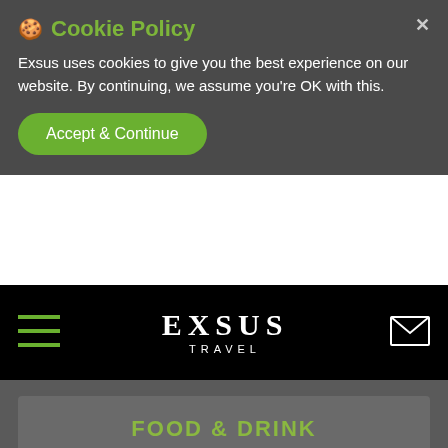🍪 Cookie Policy
Exsus uses cookies to give you the best experience on our website. By continuing, we assume you're OK with this.
Accept & Continue
[Figure (screenshot): Exsus Travel navigation bar with hamburger menu on left, EXSUS TRAVEL logo in center, envelope/mail icon on right, all on black background]
FOOD & DRINK
The Galley Seafood Grill and Bar sits alongside the harbour and has fabulous views across the water and towards Morro Bay. Right beneath the Anderson Inn, this is one of the best restaurants in Morro Bay and a great dinner-time choice.